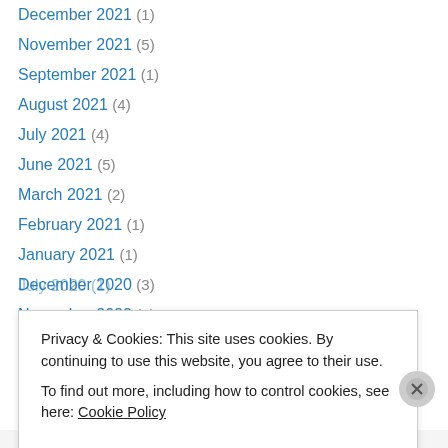December 2021 (1)
November 2021 (5)
September 2021 (1)
August 2021 (4)
July 2021 (4)
June 2021 (5)
March 2021 (2)
February 2021 (1)
January 2021 (1)
December 2020 (3)
November 2020 (1)
October 2020 (1)
September 2020 (1)
Privacy & Cookies: This site uses cookies. By continuing to use this website, you agree to their use. To find out more, including how to control cookies, see here: Cookie Policy
Close and accept